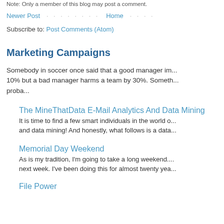Note: Only a member of this blog may post a comment.
Newer Post · · · · · · · · Home · · · · ·
Subscribe to: Post Comments (Atom)
Marketing Campaigns
Somebody in soccer once said that a good manager im... 10% but a bad manager harms a team by 30%. Someth... proba...
The MineThatData E-Mail Analytics And Data Mining... It is time to find a few smart individuals in the world o... and data mining! And honestly, what follows is a data...
Memorial Day Weekend
As is my tradition, I'm going to take a long weekend... next week. I've been doing this for almost twenty yea...
File Power